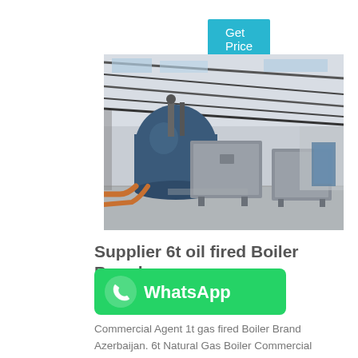Get Price
[Figure (photo): Industrial boiler room interior showing large blue cylindrical boiler and grey rectangular boiler units on a concrete floor inside a metal-frame warehouse building with corrugated roof.]
Supplier 6t oil fired Boiler Brand
[Figure (logo): WhatsApp button with green background, white phone icon, and white bold text 'WhatsApp']
Commercial Agent 1t gas fired Boiler Brand Azerbaijan. 6t Natural Gas Boiler Commercial Turkey.